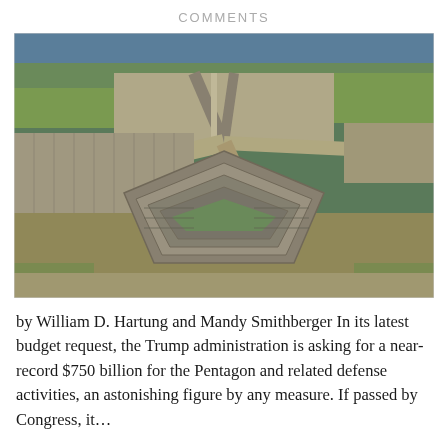COMMENTS
[Figure (photo): Aerial photograph of the Pentagon building in Arlington, Virginia, showing the iconic five-sided structure surrounded by parking lots, highways, and green spaces.]
by William D. Hartung and Mandy Smithberger In its latest budget request, the Trump administration is asking for a near-record $750 billion for the Pentagon and related defense activities, an astonishing figure by any measure. If passed by Congress, it...